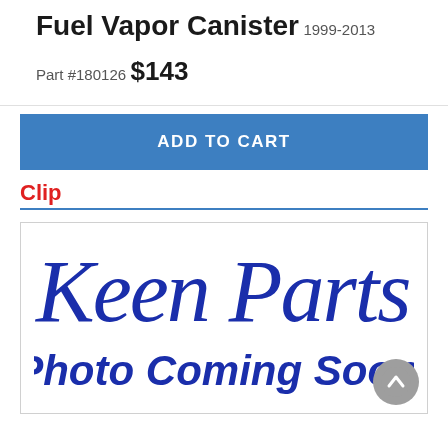Fuel Vapor Canister
1999-2013
Part #180126
$143
ADD TO CART
Clip
[Figure (logo): Keen Parts logo in blue cursive script above 'Photo Coming Soon!' text in bold blue italic letters]